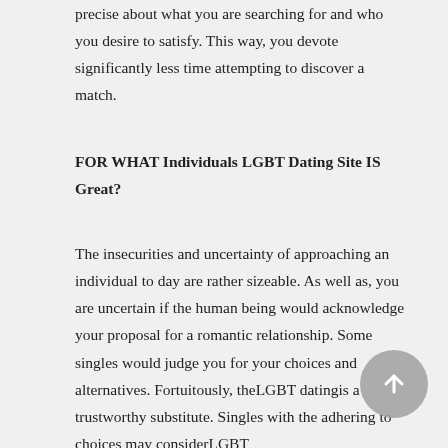precise about what you are searching for and who you desire to satisfy. This way, you devote significantly less time attempting to discover a match.
FOR WHAT Individuals LGBT Dating Site IS Great?
The insecurities and uncertainty of approaching an individual to day are rather sizeable. As well as, you are uncertain if the human being would acknowledge your proposal for a romantic relationship. Some singles would judge you for your choices and alternatives. Fortuitously, theLGBT datingis a trustworthy substitute. Singles with the adhering to choices may considerLGBT